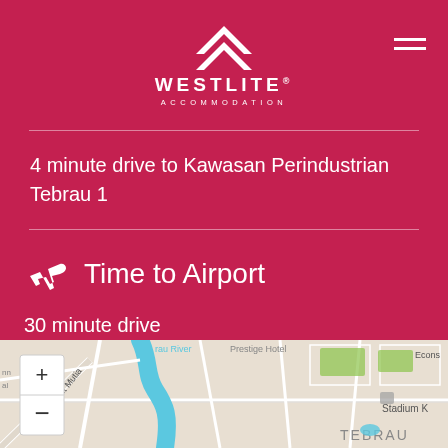[Figure (logo): Westlite Accommodation logo with white chevron/arrow icon above text on crimson background]
4 minute drive to Kawasan Perindustrian Tebrau 1
Time to Airport
30 minute drive
[Figure (map): Street map showing Tebrau area with river, roads including Jalan Bukit Mutia, Stadium K visible, zoom controls (+/-) on left side]